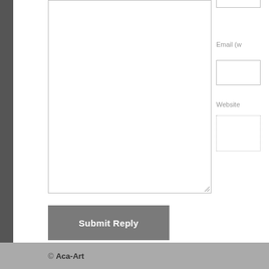[Figure (screenshot): Comment textarea input box, partially visible, with resize handle at bottom right]
Email (w
[Figure (screenshot): Email input field (solid border)]
Website
[Figure (screenshot): Website input field (dotted border)]
Submit Reply
« Previous post
© Aca-Art